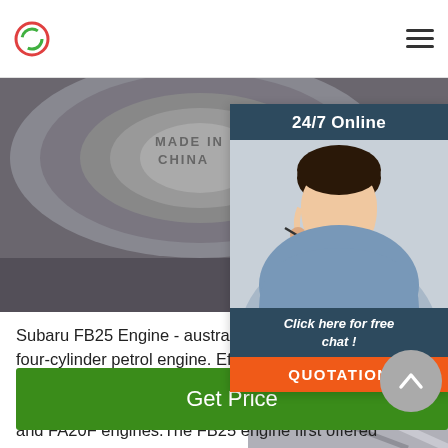[Figure (photo): Close-up photo of a metal engine component (bolt/cap) marked with 'MADE IN CHINA' text, dark metallic surface with textured background]
[Figure (photo): 24/7 Online chat widget sidebar showing a smiling woman with headset/microphone, with 'Click here for free chat!' text and orange QUOTATION button, on dark blue-gray background]
Subaru FB25 Engine - australiancar.reviews Subaru's FB25 was a 2.5-litre horizontally-opposed four-cylinder petrol engine. Effectively replacing the FB25 engine was a member of Subaru's third generation boxer engine family which also included the FB20, FB25 and FA20F engines.The FB25 engine first offered in the 2011 Subaru SH.II Forester.
[Figure (photo): Green 'Get Price' button]
[Figure (photo): Metal chrome/steel component visible at bottom right corner of page]